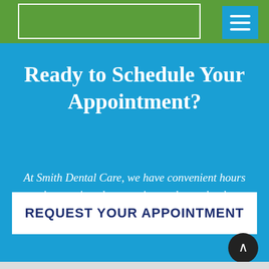Ready to Schedule Your Appointment?
At Smith Dental Care, we have convenient hours that won't make you miss work or school.
REQUEST YOUR APPOINTMENT